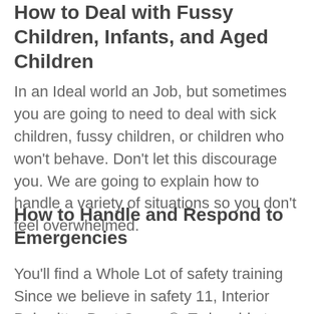How to Deal with Fussy Children, Infants, and Aged Children
In an Ideal world an Job, but sometimes you are going to need to deal with sick children, fussy children, or children who won't behave. Don't let this discourage you. We are going to explain how to handle a variety of situations so you don't feel overwhelmed.
How to Handle and Respond to Emergencies
You'll find a Whole Lot of safety training Since we believe in safety 11, Interior Babysitter Boot Camp ®. To be able to Do a fantastic job you have to first ensure that everybody is safe. In The unlikely